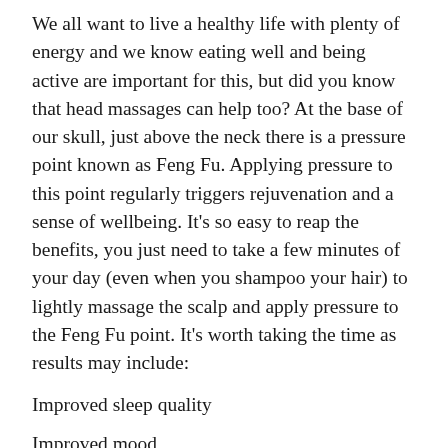We all want to live a healthy life with plenty of energy and we know eating well and being active are important for this, but did you know that head massages can help too? At the base of our skull, just above the neck there is a pressure point known as Feng Fu. Applying pressure to this point regularly triggers rejuvenation and a sense of wellbeing. It’s so easy to reap the benefits, you just need to take a few minutes of your day (even when you shampoo your hair) to lightly massage the scalp and apply pressure to the Feng Fu point. It’s worth taking the time as results may include:
Improved sleep quality
Improved mood
Gut regulation